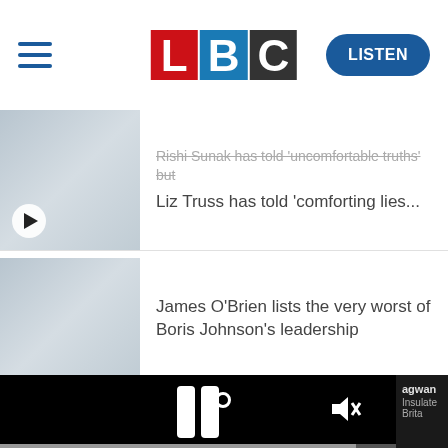[Figure (logo): LBC radio logo with L in red, B in blue, C in dark/black tiles]
Rishi Sunak has told 'uncomfortable truths' but Liz Truss has told 'comforting lies...
James O'Brien lists the very worst of Boris Johnson's leadership
[Figure (screenshot): Video player showing paused state with pause icon and mute icon on black background, progress bar at bottom, sidebar showing 'agwan Insulate Brita']